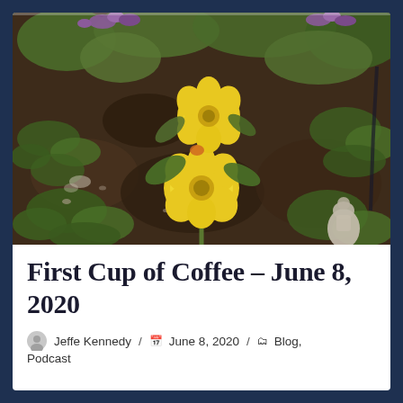[Figure (photo): Overhead photo of a garden bed with two yellow flowers (petunia-like blooms) surrounded by green foliage, dark soil, purple flowers in background, and a small garden statue in lower right corner.]
First Cup of Coffee – June 8, 2020
Jeffe Kennedy / June 8, 2020 / Blog, Podcast